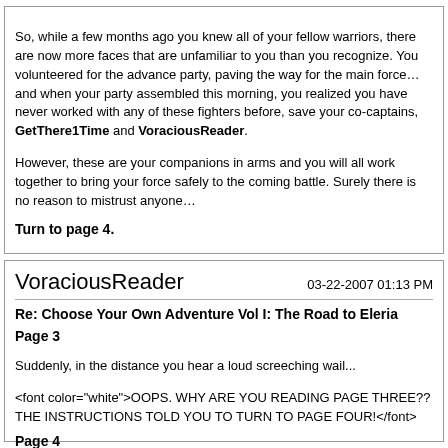So, while a few months ago you knew all of your fellow warriors, there are now more faces that are unfamiliar to you than you recognize. You volunteered for the advance party, paving the way for the main force… and when your party assembled this morning, you realized you have never worked with any of these fighters before, save your co-captains, GetThere1Time and VoraciousReader.
However, these are your companions in arms and you will all work together to bring your force safely to the coming battle. Surely there is no reason to mistrust anyone…
Turn to page 4.
VoraciousReader  03-22-2007 01:13 PM
Re: Choose Your Own Adventure Vol I: The Road to Eleria
Page 3
Suddenly, in the distance you hear a loud screeching wail...
<font color="white">OOPS. WHY ARE YOU READING PAGE THREE?? THE INSTRUCTIONS TOLD YOU TO TURN TO PAGE FOUR!</font>
Page 4
You and Con finish your ale and rest by the fire until it starts to die...